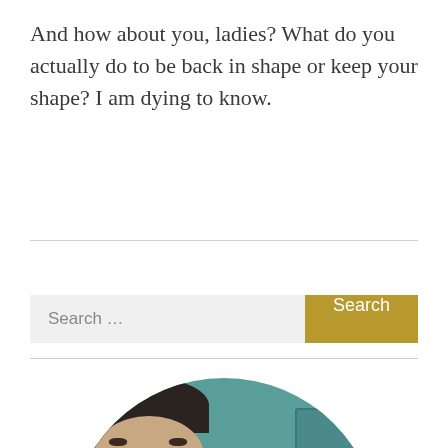And how about you, ladies? What do you actually do to be back in shape or keep your shape? I am dying to know.
[Figure (photo): Circular cropped photo of a woman with dark hair pulled back, light skin, looking toward the camera. Teal/green background with what appears to be a painting visible on the right side.]